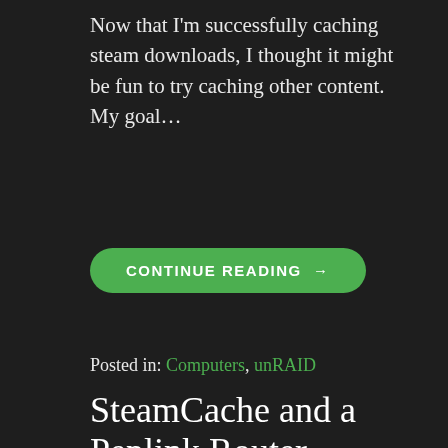Now that I'm successfully caching steam downloads, I thought it might be fun to try caching other content.  My goal…
CONTINUE READING →
Posted in: Computers, unRAID
SteamCache and a Peplink Router
March 5, 2018
cbrodine